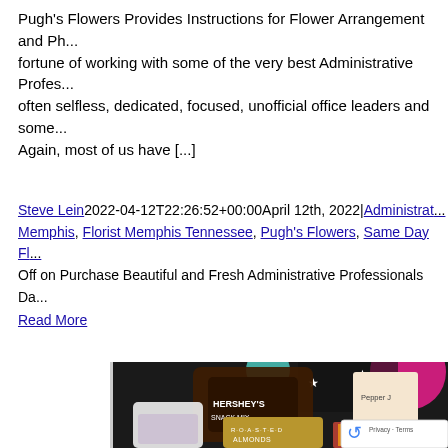Pugh's Flowers Provides Instructions for Flower Arrangement and Ph... fortune of working with some of the very best Administrative Profess... often selfless, dedicated, focused, unofficial office leaders and some ... Again, most of us have [...]
Steve Lein 2022-04-12T22:26:52+00:00 April 12th, 2022 | Administrat... Memphis, Florist Memphis Tennessee, Pugh's Flowers, Same Day Fl... Off on Purchase Beautiful and Fresh Administrative Professionals Da... Read More
[Figure (photo): A collection of snack products including a Hershey's Snack Mix bag, Roasted Almonds, a Pepper J product box, a bag of blueberry items, colorful lollipops, and various other snack packages arranged together, with colorful balloons or decorations in the background.]